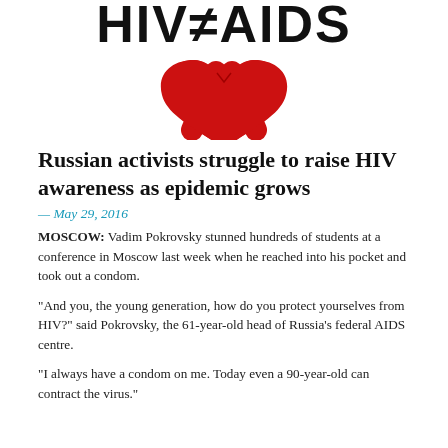[Figure (logo): HIV ≠ AIDS logo with red awareness ribbon below the text]
Russian activists struggle to raise HIV awareness as epidemic grows
— May 29, 2016
MOSCOW:  Vadim Pokrovsky stunned hundreds of students at a conference in Moscow last week when he reached into his pocket and took out a condom.
“And you, the young generation, how do you protect yourselves from HIV?” said Pokrovsky, the 61-year-old head of Russia’s federal AIDS centre.
“I always have a condom on me. Today even a 90-year-old can contract the virus.”